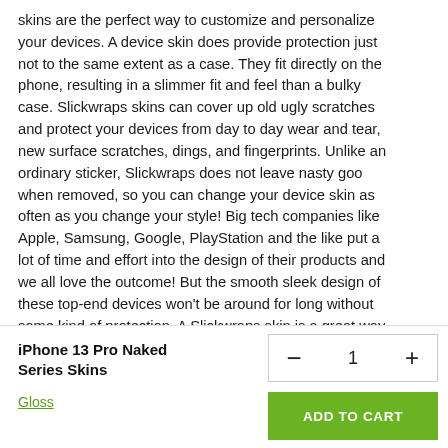skins are the perfect way to customize and personalize your devices. A device skin does provide protection just not to the same extent as a case. They fit directly on the phone, resulting in a slimmer fit and feel than a bulky case. Slickwraps skins can cover up old ugly scratches and protect your devices from day to day wear and tear, new surface scratches, dings, and fingerprints. Unlike an ordinary sticker, Slickwraps does not leave nasty goo when removed, so you can change your device skin as often as you change your style! Big tech companies like Apple, Samsung, Google, PlayStation and the like put a lot of time and effort into the design of their products and we all love the outcome! But the smooth sleek design of these top-end devices won't be around for long without some kind of protection. A Slickwraps skin is a great way to protect surface of your device from unsightly scratches and
iPhone 13 Pro Naked Series Skins
Gloss